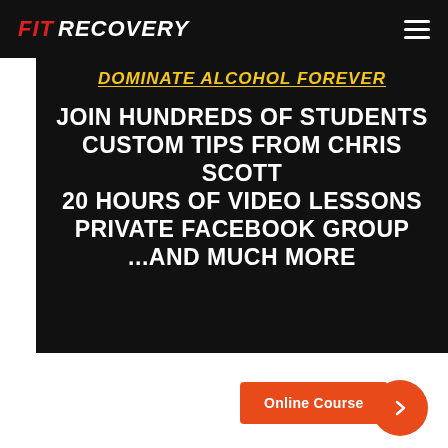FIT RECOVERY
DOMINATE ALCOHOL FOREVER
JOIN HUNDREDS OF STUDENTS
CUSTOM TIPS FROM CHRIS SCOTT
20 HOURS OF VIDEO LESSONS
PRIVATE FACEBOOK GROUP
...AND MUCH MORE
Online Course